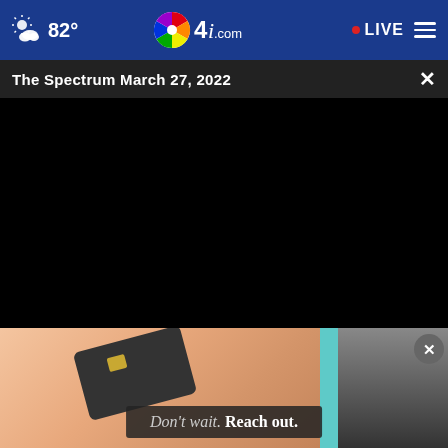NBC4i.com — 82° LIVE navigation bar
The Spectrum March 27, 2022
[Figure (screenshot): Black video player area showing The Spectrum March 27, 2022]
[Figure (photo): Advertisement showing a person holding a credit card with text 'Don't wait. Reach out.' overlay and close button]